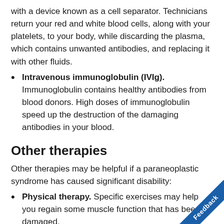with a device known as a cell separator. Technicians return your red and white blood cells, along with your platelets, to your body, while discarding the plasma, which contains unwanted antibodies, and replacing it with other fluids.
Intravenous immunoglobulin (IVIg). Immunoglobulin contains healthy antibodies from blood donors. High doses of immunoglobulin speed up the destruction of the damaging antibodies in your blood.
Other therapies
Other therapies may be helpful if a paraneoplastic syndrome has caused significant disability:
Physical therapy. Specific exercises may help you regain some muscle function that has been damaged.
Speech therapy. If you are having trouble speaking, swallowing, a speech therapist can help you re...